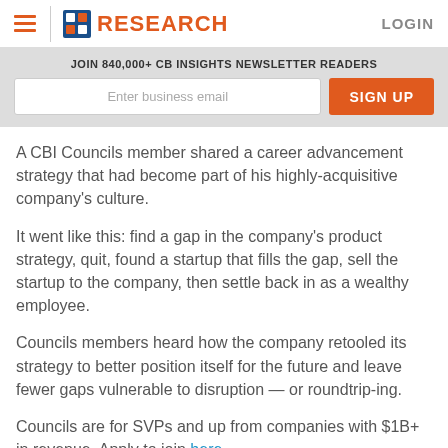CB INSIGHTS RESEARCH LOGIN
JOIN 840,000+ CB INSIGHTS NEWSLETTER READERS
A CBI Councils member shared a career advancement strategy that had become part of his highly-acquisitive company's culture.
It went like this: find a gap in the company's product strategy, quit, found a startup that fills the gap, sell the startup to the company, then settle back in as a wealthy employee.
Councils members heard how the company retooled its strategy to better position itself for the future and leave fewer gaps vulnerable to disruption — or roundtrip-ing.
Councils are for SVPs and up from companies with $1B+ in revenue. Apply to join here.